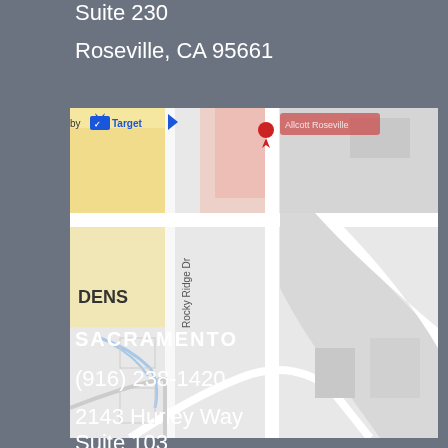Suite 230
Roseville, CA 95661
[Figure (map): Google Maps partial view showing Rocky Ridge Dr area in Roseville, CA. Shows Target store marker (blue), a red location pin, street grid with Rocky Ridge Dr label, residential areas (DENS visible), yellow commercial block, pink block, and road network on light gray background.]
SACRAMENTO
(916) 238-1420
2143 Hurley Way
Suite 103